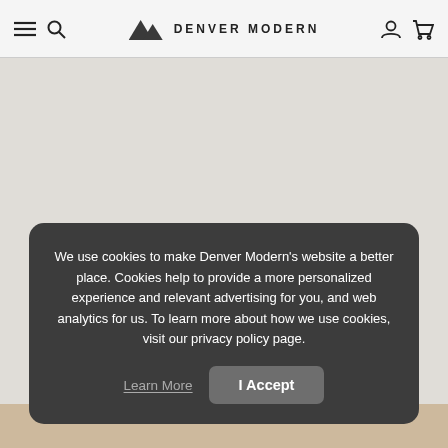DENVER MODERN
We use cookies to make Denver Modern's website a better place. Cookies help to provide a more personalized experience and relevant advertising for you, and web analytics for us. To learn more about how we use cookies, visit our privacy policy page.
Learn More  I Accept